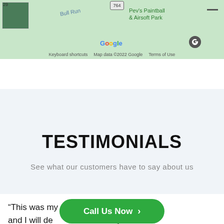[Figure (screenshot): Google Maps screenshot showing area with Bull Run road label, route 764 badge, Pev's Paintball & Airsoft Park label, Google logo, and map controls. Map thumbnail in top-left corner. Footer shows Keyboard shortcuts, Map data ©2022 Google, Terms of Use.]
TESTIMONIALS
See what our customers have to say about us
“This was my first time using Bay Cleaning, and I will de… my Fairfax